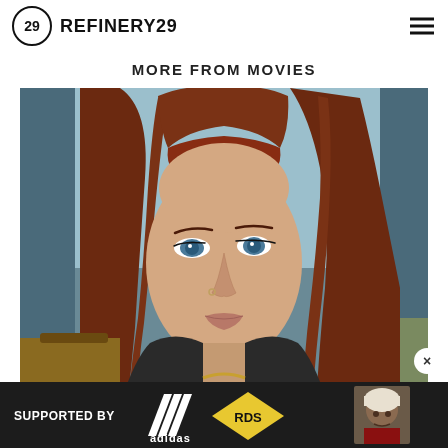REFINERY29
MORE FROM MOVIES
[Figure (photo): Close-up photo of a young woman with long red hair and bangs, blue eyes, wearing a dark leather jacket and gold necklace, against a blurred indoor background]
[Figure (photo): Advertisement bar: SUPPORTED BY adidas RDS logo, with thumbnail of a person in a white headwrap]
SUPPORTED BY adidas RDS